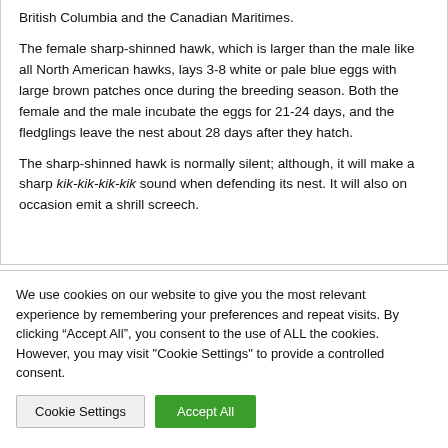British Columbia and the Canadian Maritimes.
The female sharp-shinned hawk, which is larger than the male like all North American hawks, lays 3-8 white or pale blue eggs with large brown patches once during the breeding season. Both the female and the male incubate the eggs for 21-24 days, and the fledglings leave the nest about 28 days after they hatch.
The sharp-shinned hawk is normally silent; although, it will make a sharp kik-kik-kik-kik sound when defending its nest. It will also on occasion emit a shrill screech.
We use cookies on our website to give you the most relevant experience by remembering your preferences and repeat visits. By clicking “Accept All”, you consent to the use of ALL the cookies. However, you may visit "Cookie Settings" to provide a controlled consent.